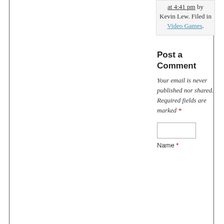at 4:41 pm by Kevin Lew. Filed in Video Games.
Post a Comment
Your email is never published nor shared. Required fields are marked *
Name *